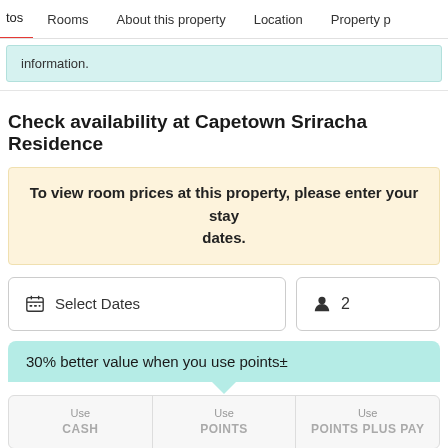tos   Rooms   About this property   Location   Property p
information.
Check availability at Capetown Sriracha Residence
To view room prices at this property, please enter your stay dates.
Select Dates   2
30% better value when you use points±
Use CASH   Use POINTS   Use POINTS PLUS PAY
Minimum 5,000 PTS required